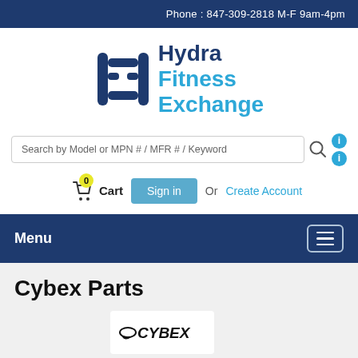Phone : 847-309-2818 M-F 9am-4pm
[Figure (logo): Hydra Fitness Exchange logo with stylized H icon in dark navy and Hydra Fitness Exchange text]
Search by Model or MPN # / MFR # / Keyword
0 Cart  Sign in  Or  Create Account
Menu
Cybex Parts
[Figure (logo): Cybex brand logo in black italic font with swoosh]